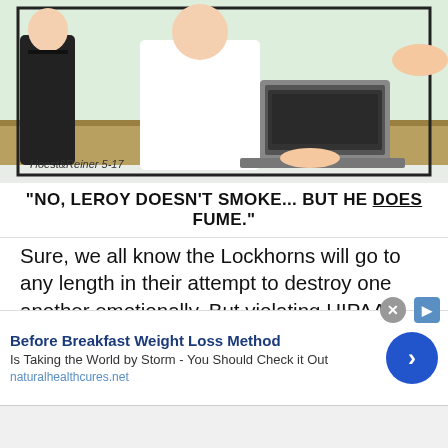[Figure (illustration): Comic strip panel from The Lockhorns by Hoest & Reiner, dated 5-17. Shows a doctor or professional at a desk with a laptop, and a patient or client sitting across. Artist signature reads 'Hoest & Reiner 5-17'.]
"NO, LEROY DOESN'T SMOKE... BUT HE DOES FUME."
Sure, we all know the Lockhorns will go to any length in their attempt to destroy one another emotionally. But violating HIPAA? Too far, Loretta. Too far.
Family Circus    Lockhorns
[Figure (screenshot): Advertisement banner: 'Before Breakfast Weight Loss Method - Is Taking the World by Storm - You Should Check it Out - naturalhealthcures.net' with a blue arrow button.]